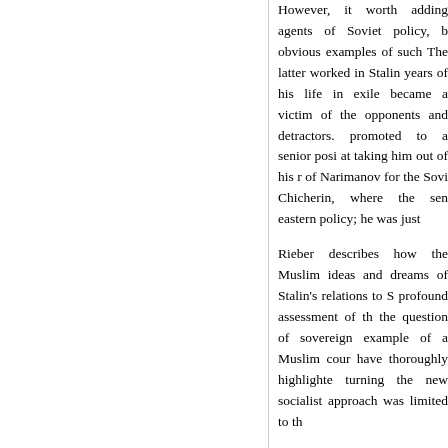However, it worth adding agents of Soviet policy, b obvious examples of such The latter worked in Stalin years of his life in exile became a victim of the opponents and detractors. promoted to a senior posi at taking him out of his r of Narimanov for the Sovi Chicherin, where the sen eastern policy; he was just
Rieber describes how the Muslim ideas and dreams of Stalin's relations to S profound assessment of th the question of sovereign example of a Muslim cour have thoroughly highlighte turning the new socialist approach was limited to th